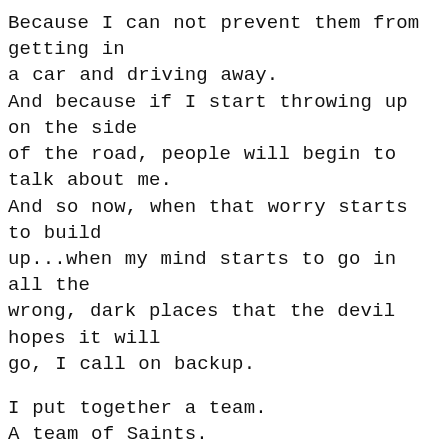Because I can not prevent them from getting in a car and driving away. And because if I start throwing up on the side of the road, people will begin to talk about me. And so now, when that worry starts to build up...when my mind starts to go in all the wrong, dark places that the devil hopes it will go, I call on backup.

I put together a team. A team of Saints. My own Super hero squad, if you will. When the tears are too much and the anxiety sky high, I call out to them. I give them my children.